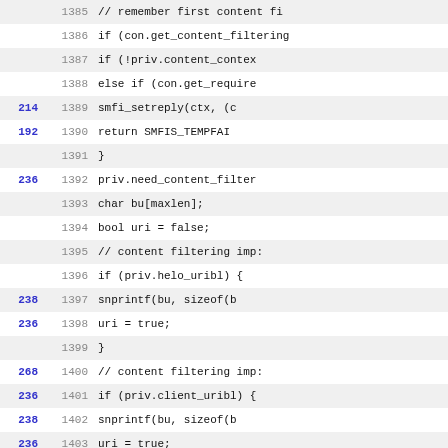[Figure (screenshot): Code viewer showing source lines 1385-1417 with coverage counts in blue on the left, line numbers in gray, and C code on the right. Alternating white and gray row backgrounds.]